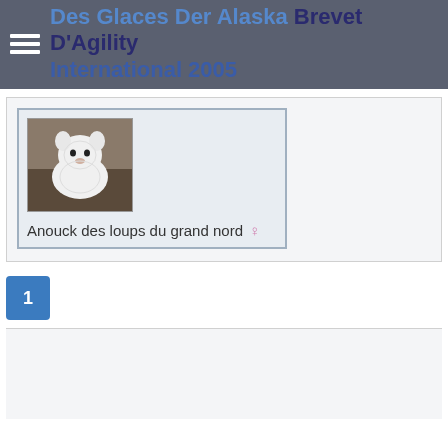Des Glaces Der Alaska Brevet D'Agility International 2005
[Figure (photo): White dog (Samoyed or similar white spitz breed) photo in a card layout]
Anouck des loups du grand nord ♀
1